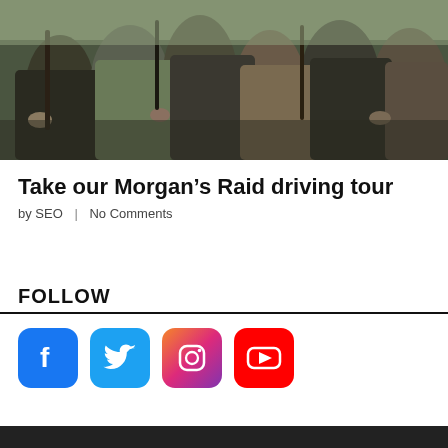[Figure (photo): Group of people in military/historical costumes holding weapons, outdoor scene]
Take our Morgan’s Raid driving tour
by SEO  |  No Comments
FOLLOW
[Figure (infographic): Social media icons: Facebook (blue), Twitter (blue), Instagram (gradient pink/purple), YouTube (red)]